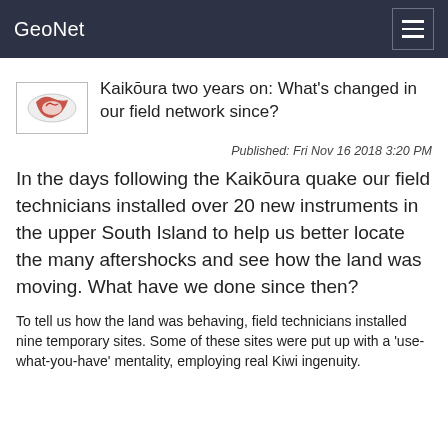GeoNet
[Figure (logo): GeoNet logo icon — circular red and white design]
Kaikōura two years on: What's changed in our field network since?
Published: Fri Nov 16 2018 3:20 PM
In the days following the Kaikōura quake our field technicians installed over 20 new instruments in the upper South Island to help us better locate the many aftershocks and see how the land was moving. What have we done since then?
To tell us how the land was behaving, field technicians installed nine temporary sites. Some of these sites were put up with a 'use-what-you-have' mentality, employing real Kiwi ingenuity.